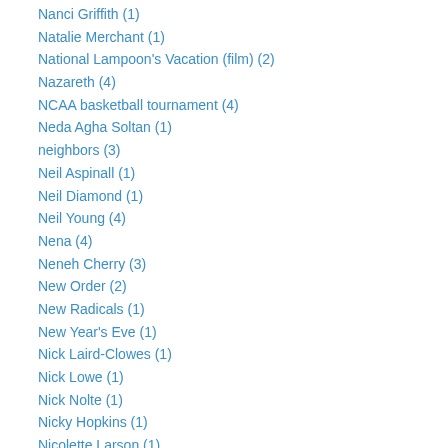Nanci Griffith (1)
Natalie Merchant (1)
National Lampoon's Vacation (film) (2)
Nazareth (4)
NCAA basketball tournament (4)
Neda Agha Soltan (1)
neighbors (3)
Neil Aspinall (1)
Neil Diamond (1)
Neil Young (4)
Nena (4)
Neneh Cherry (3)
New Order (2)
New Radicals (1)
New Year's Eve (1)
Nick Laird-Clowes (1)
Nick Lowe (1)
Nick Nolte (1)
Nicky Hopkins (1)
Nicolette Larson (1)